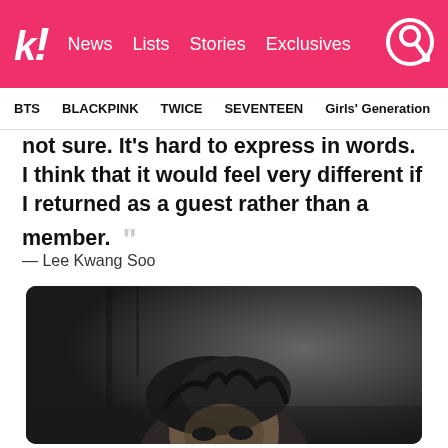k! News Lists Stories Exclusives
BTS BLACKPINK TWICE SEVENTEEN Girls' Generation
not sure. It's hard to express in words. I think that it would feel very different if I returned as a guest rather than a member.
— Lee Kwang Soo
[Figure (photo): Black and white photo of Lee Kwang Soo, a Korean actor/entertainer, shown from approximately the shoulders up with tousled hair, looking downward, against a dark blurred background.]